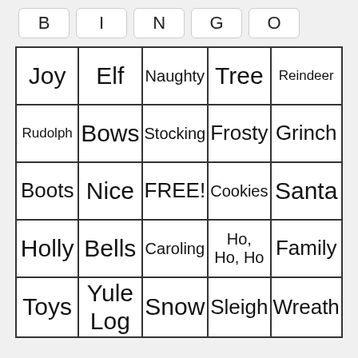| B | I | N | G | O |
| --- | --- | --- | --- | --- |
| Joy | Elf | Naughty | Tree | Reindeer |
| Rudolph | Bows | Stocking | Frosty | Grinch |
| Boots | Nice | FREE! | Cookies | Santa |
| Holly | Bells | Caroling | Ho, Ho, Ho | Family |
| Toys | Yule Log | Snow | Sleigh | Wreath |